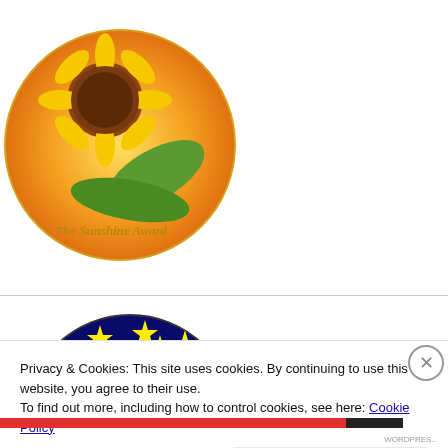[Figure (illustration): The Sunshine Award badge: a circular badge featuring a large sunflower on an orange/yellow background with cursive gold text reading 'The Sunshine Award']
[Figure (illustration): The Black Cat Blue Sea Award badge: a circular dark navy blue badge with yellow stars, a crescent moon, a sailboat with American flag-style sail stripes (red, white), and a black cat silhouette. Text reads 'The Black Cat Blue Sea Award']
Privacy & Cookies: This site uses cookies. By continuing to use this website, you agree to their use.
To find out more, including how to control cookies, see here: Cookie Policy
Close and accept